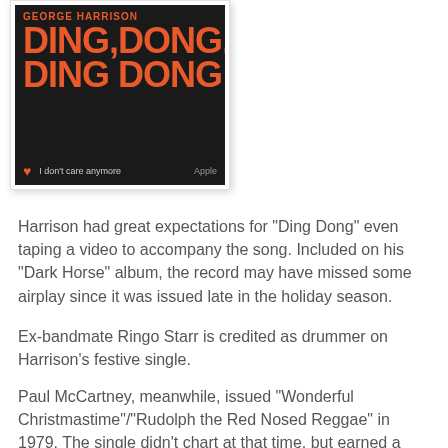[Figure (photo): Album cover for George Harrison's 'Ding Dong, Ding Dong' single. Black background with large orange/red bold text reading 'DING,DONG, DING DONG'. Bottom bar includes a heart icon, subtitle 'I don't care anymore', and label 'Apple'.]
Harrison had great expectations for "Ding Dong" even taping a video to accompany the song. Included on his "Dark Horse" album, the record may have missed some airplay since it was issued late in the holiday season.
Ex-bandmate Ringo Starr is credited as drummer on Harrison's festive single.
Paul McCartney, meanwhile, issued "Wonderful Christmastime"/"Rudolph the Red Nosed Reggae" in 1979. The single didn't chart at that time, but earned a Top Ten